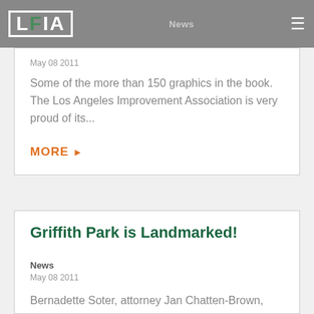LFIA | News
May 08 2011
Some of the more than 150 graphics in the book. The Los Angeles Improvement Association is very proud of its...
MORE ▶
Griffith Park is Landmarked!
News
May 08 2011
Bernadette Soter, attorney Jan Chatten-Brown, Marian Dodge, Rick Starzak, Clare Darden, Van Griffith, Daniel Paul, Barbara Griffith,